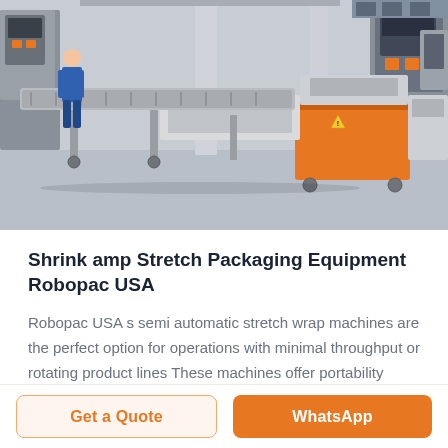[Figure (photo): Factory floor showing a long industrial packaging machine (conveyor/flow wrapper style) with orange and grey panels. A worker in blue clothing stands at the left. Multiple machines and equipment visible in the background of a large industrial facility.]
Shrink amp Stretch Packaging Equipment Robopac USA
Robopac USA s semi automatic stretch wrap machines are the perfect option for operations with minimal throughput or rotating product lines These machines offer portability adaptability and space